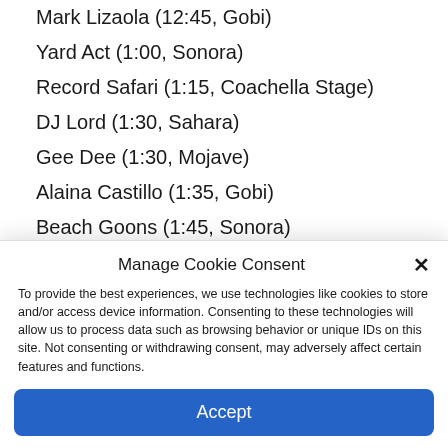Mark Lizaola (12:45, Gobi)
Yard Act (1:00, Sonora)
Record Safari (1:15, Coachella Stage)
DJ Lord (1:30, Sahara)
Gee Dee (1:30, Mojave)
Alaina Castillo (1:35, Gobi)
Beach Goons (1:45, Sonora)
Gingee (1:45, Outdoor Theater)
DJ Holographic (2:00, Yuma)
Manage Cookie Consent
To provide the best experiences, we use technologies like cookies to store and/or access device information. Consenting to these technologies will allow us to process data such as browsing behavior or unique IDs on this site. Not consenting or withdrawing consent, may adversely affect certain features and functions.
Accept